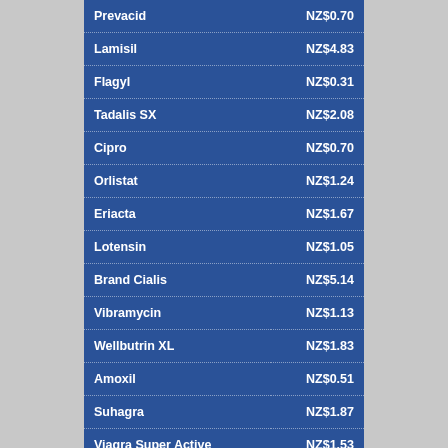| Drug | Price |
| --- | --- |
| Prevacid | NZ$0.70 |
| Lamisil | NZ$4.83 |
| Flagyl | NZ$0.31 |
| Tadalis SX | NZ$2.08 |
| Cipro | NZ$0.70 |
| Orlistat | NZ$1.24 |
| Eriacta | NZ$1.67 |
| Lotensin | NZ$1.05 |
| Brand Cialis | NZ$5.14 |
| Vibramycin | NZ$1.13 |
| Wellbutrin XL | NZ$1.83 |
| Amoxil | NZ$0.51 |
| Suhagra | NZ$1.87 |
| Viagra Super Active | NZ$1.53 |
| Erythromycin | NZ$0.48 |
| Celebrex | NZ$0.74 |